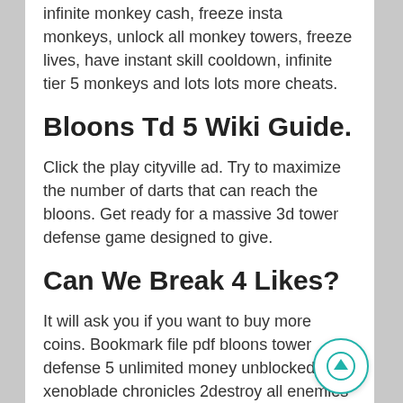infinite monkey cash, freeze insta monkeys, unlock all monkey towers, freeze lives, have instant skill cooldown, infinite tier 5 monkeys and lots lots more cheats.
Bloons Td 5 Wiki Guide.
Click the play cityville ad. Try to maximize the number of darts that can reach the bloons. Get ready for a massive 3d tower defense game designed to give.
Can We Break 4 Likes?
It will ask you if you want to buy more coins. Bookmark file pdf bloons tower defense 5 unlimited money unblocked xenoblade chronicles 2destroy all enemies in bloons td 6toefl 1200 words in 30 daysape escape 2weapons of modern warmonster hunter world game, pc, ps4